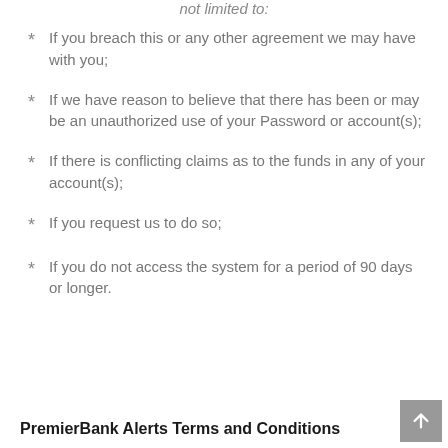not limited to:
If you breach this or any other agreement we may have with you;
If we have reason to believe that there has been or may be an unauthorized use of your Password or account(s);
If there is conflicting claims as to the funds in any of your account(s);
If you request us to do so;
If you do not access the system for a period of 90 days or longer.
PremierBank Alerts Terms and Conditions